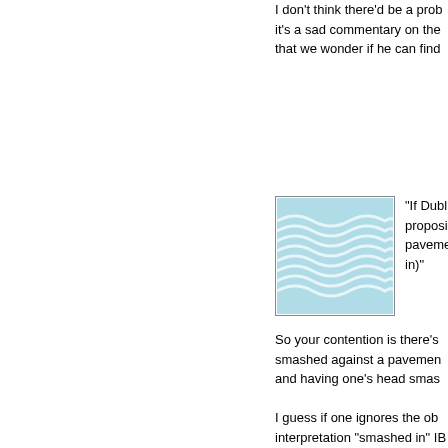I don't think there'd be a problem, it's a sad commentary on the that we wonder if he can find
[Figure (illustration): A square avatar image depicting flowing water waves in blue and teal tones, with a gray border.]
"If Dublindave is willing to cite proposition that Zimmerman's pavement(which is not the sa in)"
So your contention is there's smashed against a pavement and having one's head smash
I guess if one ignores the obv interpretation "smashed in" IB with the brain protruding,then didn't claim pieces of his brai
But for the rest of us Joes,ha a serious trauma,which Zimm have sustained and which is you errect, a lie.